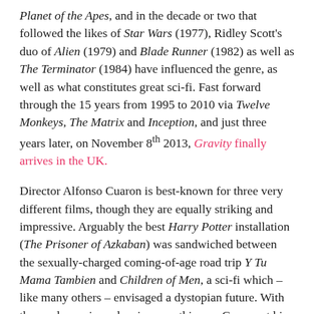Planet of the Apes, and in the decade or two that followed the likes of Star Wars (1977), Ridley Scott's duo of Alien (1979) and Blade Runner (1982) as well as The Terminator (1984) have influenced the genre, as well as what constitutes great sci-fi. Fast forward through the 15 years from 1995 to 2010 via Twelve Monkeys, The Matrix and Inception, and just three years later, on November 8th 2013, Gravity finally arrives in the UK.
Director Alfonso Cuaron is best-known for three very different films, though they are equally striking and impressive. Arguably the best Harry Potter installation (The Prisoner of Azkaban) was sandwiched between the sexually-charged coming-of-age road trip Y Tu Mama Tambien and Children of Men, a sci-fi which – like many others – envisaged a dystopian future. With three releases in under six years this was Cuaron at his most prolific, and to prove this point he's not directed a feature-length film in the seven years since. Until now.